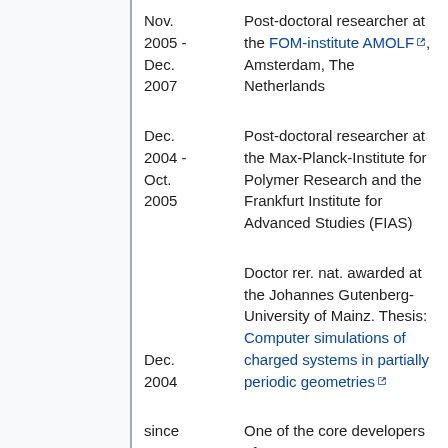Nov. 2005 - Dec. 2007 | Post-doctoral researcher at the FOM-institute AMOLF, Amsterdam, The Netherlands
Dec. 2004 - Oct. 2005 | Post-doctoral researcher at the Max-Planck-Institute for Polymer Research and the Frankfurt Institute for Advanced Studies (FIAS)
Dec. 2004 | Doctor rer. nat. awarded at the Johannes Gutenberg-University of Mainz. Thesis: Computer simulations of charged systems in partially periodic geometries
since 2003 | One of the core developers of ESPResSo
Oct. 2001- | Doctorate studies at the Max-